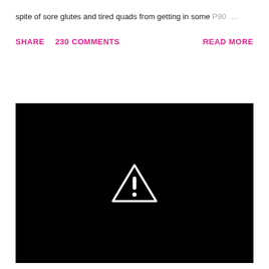spite of sore glutes and tired quads from getting in some P90…   …
SHARE   230 COMMENTS   READ MORE
[Figure (screenshot): Black video player area with a white warning triangle (exclamation mark) icon in the center, indicating a video playback error or unavailable content.]